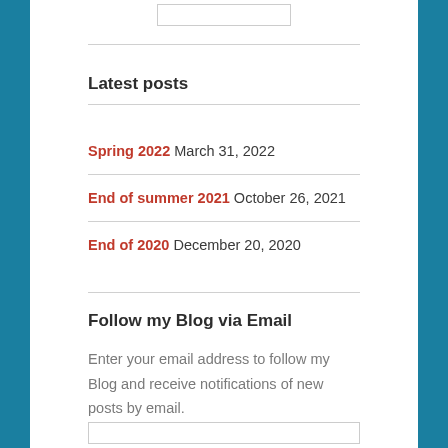Latest posts
Spring 2022 March 31, 2022
End of summer 2021 October 26, 2021
End of 2020 December 20, 2020
Follow my Blog via Email
Enter your email address to follow my Blog and receive notifications of new posts by email.